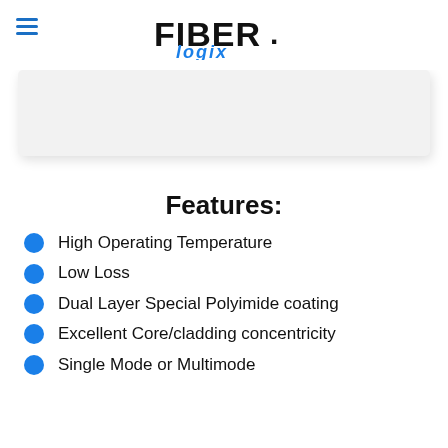FIBER.logix
[Figure (photo): White rectangular image area showing a product photo (cropped/partially visible), with light gray background and subtle shadow.]
Features:
High Operating Temperature
Low Loss
Dual Layer Special Polyimide coating
Excellent Core/cladding concentricity
Single Mode or Multimode